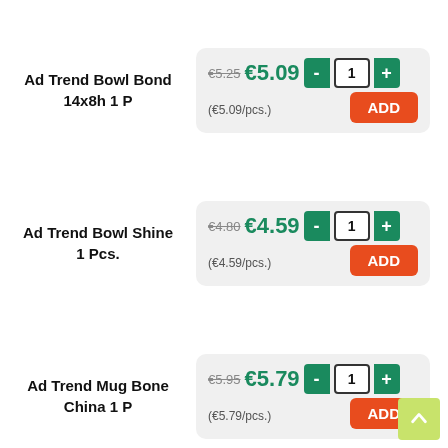Ad Trend Bowl Bond 14x8h 1 P
€5.25 €5.09 - 1 + (€5.09/pcs.) ADD
Ad Trend Bowl Shine 1 Pcs.
€4.80 €4.59 - 1 + (€4.59/pcs.) ADD
Ad Trend Mug Bone China 1 P
€5.95 €5.79 - 1 + (€5.79/pcs.) ADD